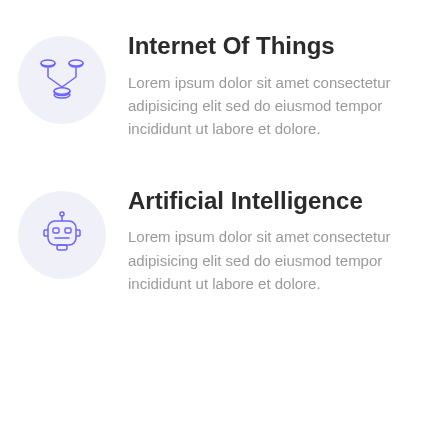[Figure (illustration): IoT/network database icon: three stacked database cylinders connected in a tree/hub pattern, drawn in blue-purple outline style, inside a light lavender circle]
Internet Of Things
Lorem ipsum dolor sit amet consectetur adipisicing elit sed do eiusmod tempor incididunt ut labore et dolore.
[Figure (illustration): Robot/AI head icon: a rounded robot face with antenna on top, rectangular eyes, and a simple expression, drawn in blue-purple outline style, inside a light lavender circle]
Artificial Intelligence
Lorem ipsum dolor sit amet consectetur adipisicing elit sed do eiusmod tempor incididunt ut labore et dolore.